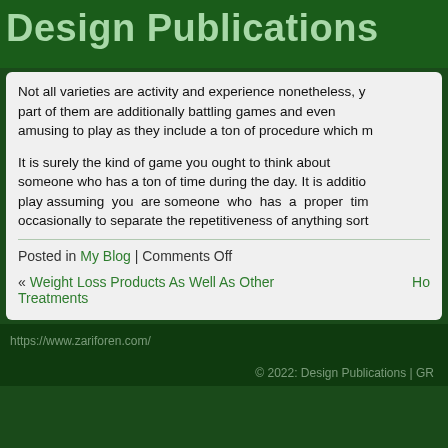Design Publications
Not all varieties are activity and experience nonetheless, y... part of them are additionally battling games and even ... amusing to play as they include a ton of procedure which m...
It is surely the kind of game you ought to think about... someone who has a ton of time during the day. It is additio... play assuming you are someone who has a proper tim... occasionally to separate the repetitiveness of anything sort...
Posted in My Blog | Comments Off
« Weight Loss Products As Well As Other Treatments Ho
https://www.zariforen.com/
© 2022: Design Publications | GR